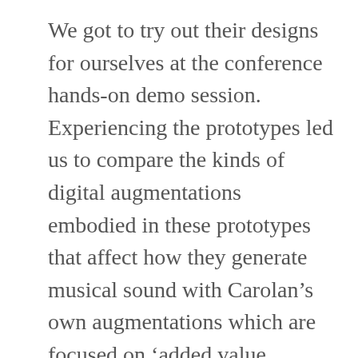We got to try out their designs for ourselves at the conference hands-on demo session. Experiencing the prototypes led us to compare the kinds of digital augmentations embodied in these prototypes that affect how they generate musical sound with Carolan's own augmentations which are focused on 'added value services' that surround the guitar but without directly affecting how it makes music. Should interacting with Carolan by scanning its Artcodes also affect its sound – perhaps triggering effects or generating